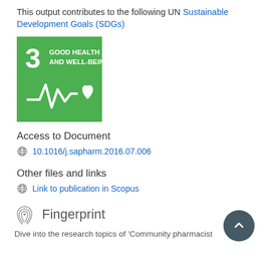This output contributes to the following UN Sustainable Development Goals (SDGs)
[Figure (logo): UN SDG Goal 3 badge: green square with number 3, text 'GOOD HEALTH AND WELL-BEING', and ECG/heart icon in white]
Access to Document
10.1016/j.sapharm.2016.07.006
Other files and links
Link to publication in Scopus
Fingerprint
Dive into the research topics of 'Community pharmacist